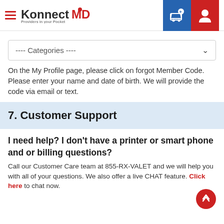KonnectMD — Providers in your Pocket
---- Categories ----
On the My Profile page, please click on forgot Member Code. Please enter your name and date of birth. We will provide the code via email or text.
7. Customer Support
I need help? I don't have a printer or smart phone and or billing questions?
Call our Customer Care team at 855-RX-VALET and we will help you with all of your questions. We also offer a live CHAT feature. Click here to chat now.